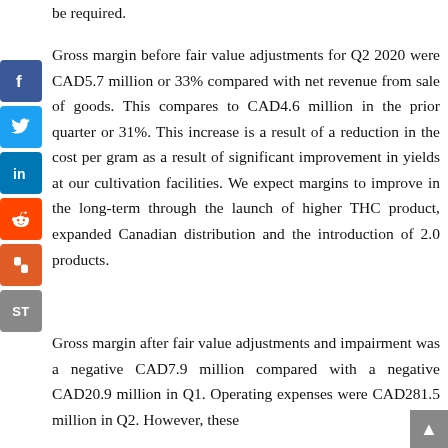be required.
Gross margin before fair value adjustments for Q2 2020 were CAD5.7 million or 33% compared with net revenue from sale of goods. This compares to CAD4.6 million in the prior quarter or 31%. This increase is a result of a reduction in the cost per gram as a result of significant improvement in yields at our cultivation facilities. We expect margins to improve in the long-term through the launch of higher THC product, expanded Canadian distribution and the introduction of 2.0 products.
Gross margin after fair value adjustments and impairment was a negative CAD7.9 million compared with a negative CAD20.9 million in Q1. Operating expenses were CAD281.5 million in Q2. However, these